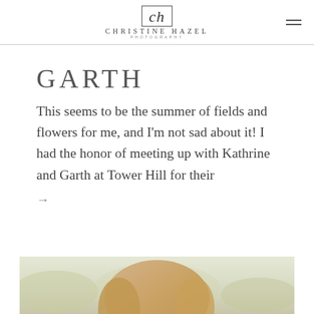[Figure (logo): Christine Hazel Photography logo with stylized 'ch' monogram in a rectangular border, text 'CHRISTINE HAZEL' and 'PHOTOGRAPHY' below]
GARTH
This seems to be the summer of fields and flowers for me, and I'm not sad about it! I had the honor of meeting up with Kathrine and Garth at Tower Hill for their
→
[Figure (photo): Partial photo showing a woman with blonde hair, outdoors in a field with soft green background, cropped at bottom of page]